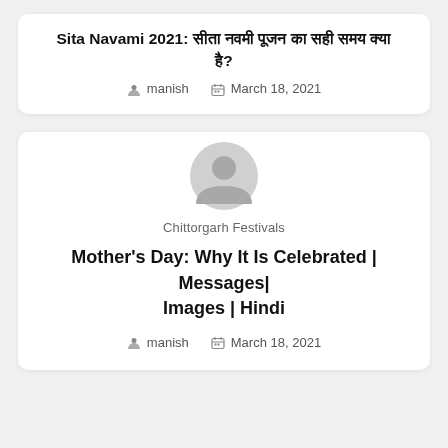Sita Navami 2021: सीता नवमी पूजन का सही समय क्या है?
manish   March 18, 2021
[Figure (illustration): Grey circular avatar/user placeholder icon]
Chittorgarh Festivals
Mother's Day: Why It Is Celebrated | Messages| Images | Hindi
manish   March 18, 2021